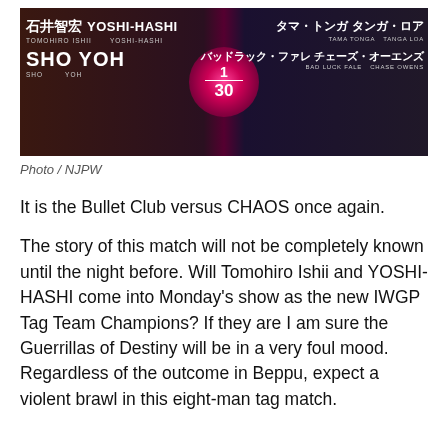[Figure (photo): NJPW promotional graphic showing eight wrestlers split into two teams: on the left, 石井智宏 (Tomohiro Ishii), YOSHI-HASHI, SHO, YOH in CHAOS; on the right, タマ・トンガ (Tama Tonga), タンガ・ロア (Tanga Loa), バッドラック・ファレ (Bad Luck Fale), チェーズ・オーエンズ (Chase Owens) in Bullet Club. A pink glowing circle in the center shows '1/30'.]
Photo / NJPW
It is the Bullet Club versus CHAOS once again.
The story of this match will not be completely known until the night before. Will Tomohiro Ishii and YOSHI-HASHI come into Monday's show as the new IWGP Tag Team Champions? If they are I am sure the Guerrillas of Destiny will be in a very foul mood. Regardless of the outcome in Beppu, expect a violent brawl in this eight-man tag match.